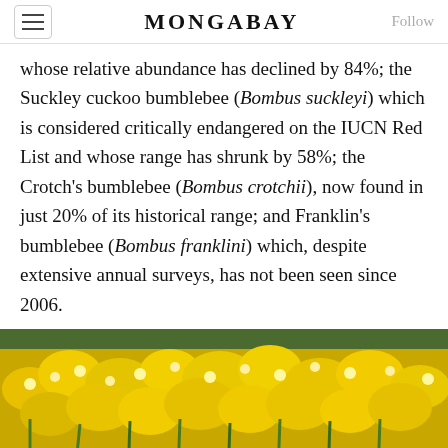MONGABAY
whose relative abundance has declined by 84%; the Suckley cuckoo bumblebee (Bombus suckleyi) which is considered critically endangered on the IUCN Red List and whose range has shrunk by 58%; the Crotch's bumblebee (Bombus crotchii), now found in just 20% of its historical range; and Franklin's bumblebee (Bombus franklini) which, despite extensive annual surveys, has not been seen since 2006.
[Figure (photo): Close-up photo of a bumblebee on yellow flowers]